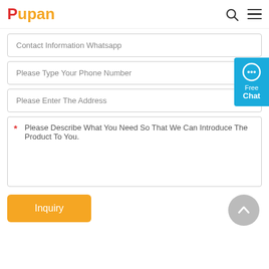Pupan
Contact Information Whatsapp
Please Type Your Phone Number
Please Enter The Address
* Please Describe What You Need So That We Can Introduce The Product To You.
Inquiry
[Figure (other): Free Chat button with speech bubble icon on teal/blue background, positioned on right side of page]